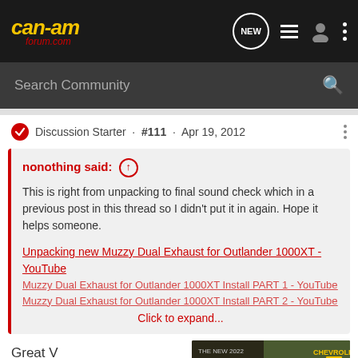can-am forum.com — navigation header with NEW, list, user, and menu icons
Search Community
Discussion Starter · #111 · Apr 19, 2012
nonothing said: ↑
This is right from unpacking to final sound check which in a previous post in this thread so I didn't put it in again. Hope it helps someone.

Unpacking new Muzzy Dual Exhaust for Outlander 1000XT - YouTube
Muzzy Dual Exhaust for Outlander 1000XT Install PART 1 - YouTube
Muzzy Dual Exhaust for Outlander 1000XT Install PART 2 - YouTube
Click to expand...
Great V
patience
[Figure (screenshot): Chevrolet Silverado 2022 advertisement banner showing 'THE NEW 2022 SILVERADO.' with an Explore button and Chevrolet logo, truck in background]